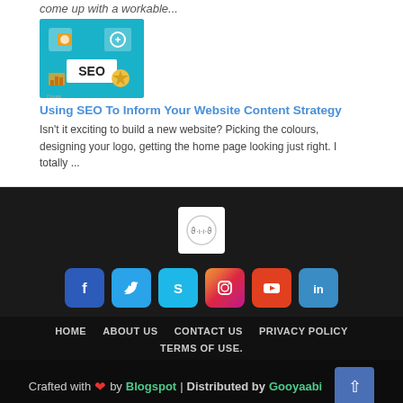come up with a workable...
[Figure (illustration): SEO themed thumbnail image with teal background]
Using SEO To Inform Your Website Content Strategy
Isn't it exciting to build a new website? Picking the colours, designing your logo, getting the home page looking just right. I totally ...
[Figure (logo): Circular logo on white square background]
[Figure (infographic): Social media icons row: Facebook, Twitter, Skype, Instagram, YouTube, LinkedIn]
HOME   ABOUT US   CONTACT US   PRIVACY POLICY   TERMS OF USE.
Crafted with ❤ by Blogspot | Distributed by Gooyaabi